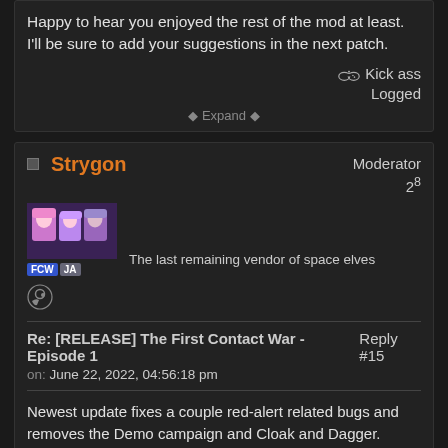Happy to hear you enjoyed the rest of the mod at least. I'll be sure to add your suggestions in the next patch.
Kick ass
Logged
* Expand *
Strygon
Moderator
2^8
The last remaining vendor of space elves
Re: [RELEASE] The First Contact War - Episode 1   Reply #15
on: June 22, 2022, 04:56:18 pm
Newest update fixes a couple red-alert related bugs and removes the Demo campaign and Cloak and Dagger.
Kick ass